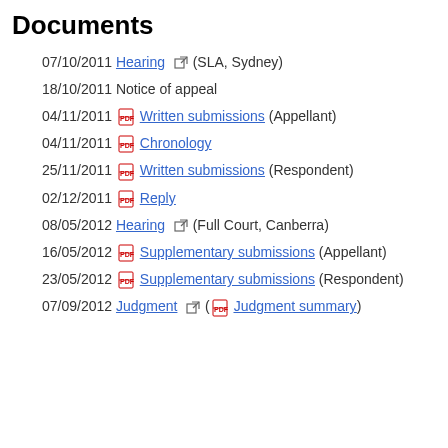Documents
07/10/2011 Hearing (SLA, Sydney)
18/10/2011 Notice of appeal
04/11/2011 Written submissions (Appellant)
04/11/2011 Chronology
25/11/2011 Written submissions (Respondent)
02/12/2011 Reply
08/05/2012 Hearing (Full Court, Canberra)
16/05/2012 Supplementary submissions (Appellant)
23/05/2012 Supplementary submissions (Respondent)
07/09/2012 Judgment (Judgment summary)